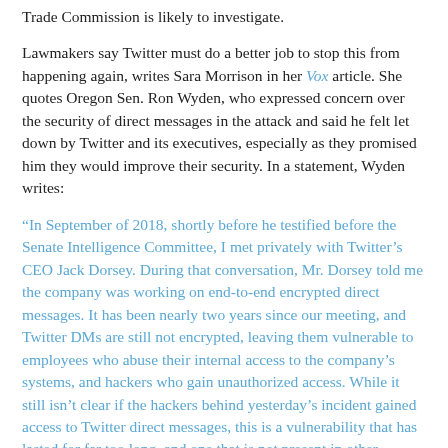Trade Commission is likely to investigate.
Lawmakers say Twitter must do a better job to stop this from happening again, writes Sara Morrison in her Vox article. She quotes Oregon Sen. Ron Wyden, who expressed concern over the security of direct messages in the attack and said he felt let down by Twitter and its executives, especially as they promised him they would improve their security. In a statement, Wyden writes:
“In September of 2018, shortly before he testified before the Senate Intelligence Committee, I met privately with Twitter’s CEO Jack Dorsey. During that conversation, Mr. Dorsey told me the company was working on end-to-end encrypted direct messages. It has been nearly two years since our meeting, and Twitter DMs are still not encrypted, leaving them vulnerable to employees who abuse their internal access to the company’s systems, and hackers who gain unauthorized access. While it still isn’t clear if the hackers behind yesterday’s incident gained access to Twitter direct messages, this is a vulnerability that has lasted for far too long, and one that is not present in other